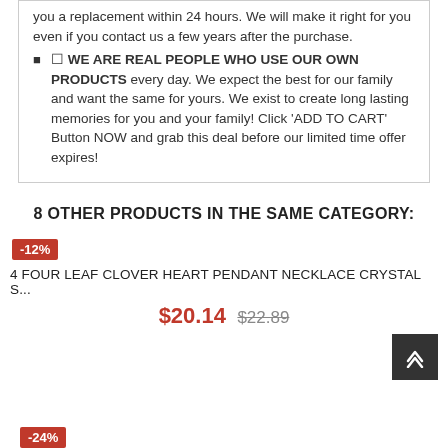you a replacement within 24 hours. We will make it right for you even if you contact us a few years after the purchase.
✓ WE ARE REAL PEOPLE WHO USE OUR OWN PRODUCTS every day. We expect the best for our family and want the same for yours. We exist to create long lasting memories for you and your family! Click 'ADD TO CART' Button NOW and grab this deal before our limited time offer expires!
8 OTHER PRODUCTS IN THE SAME CATEGORY:
-12%
4 FOUR LEAF CLOVER HEART PENDANT NECKLACE CRYSTAL S...
$20.14 $22.89
-24%